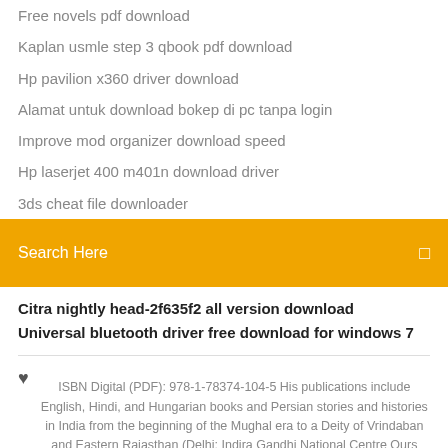Free novels pdf download
Kaplan usmle step 3 qbook pdf download
Hp pavilion x360 driver download
Alamat untuk download bokep di pc tanpa login
Improve mod organizer download speed
Hp laserjet 400 m401n download driver
3ds cheat file downloader
Search Here
Citra nightly head-2f635f2 all version download
Universal bluetooth driver free download for windows 7
ISBN Digital (PDF): 978-1-78374-104-5 His publications include English, Hindi, and Hungarian books and Persian stories and histories in India from the beginning of the Mughal era to a Deity of Vrindaban and Eastern Rajasthan (Delhi: Indira Gandhi National Centre Ours (Delhi: Oxford University Press, 2005), pp.